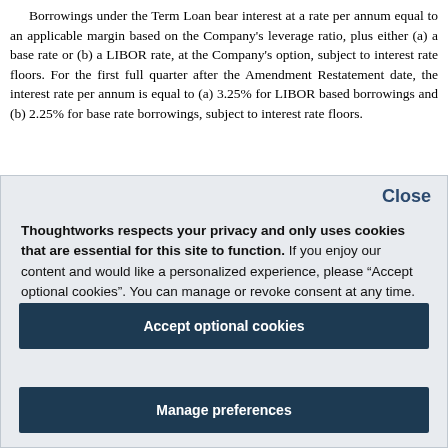Borrowings under the Term Loan bear interest at a rate per annum equal to an applicable margin based on the Company's leverage ratio, plus either (a) a base rate or (b) a LIBOR rate, at the Company's option, subject to interest rate floors. For the first full quarter after the Amendment Restatement date, the interest rate per annum is equal to (a) 3.25% for LIBOR based borrowings and (b) 2.25% for base rate borrowings, subject to interest rate floors.
[Figure (screenshot): Cookie consent modal overlay with 'Close' button, privacy notice text referencing Thoughtworks, 'Accept optional cookies' button, and 'Manage preferences' button.]